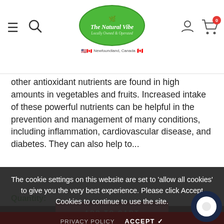[Figure (logo): The Natural Vibe — Locally Owned & Operated logo, green oval with white text, Newfoundland Canada flag beneath]
other antioxidant nutrients are found in high amounts in vegetables and fruits. Increased intake of these powerful nutrients can be helpful in the prevention and management of many conditions, including inflammation, cardiovascular disease, and diabetes. They can also help to...
Quantity:
1
The cookie settings on this website are set to 'allow all cookies' to give you the very best experience. Please click Accept Cookies to continue to use the site.
PRIVACY POLICY   ACCEPT ✓
ADD TO CART
ADD TO CART